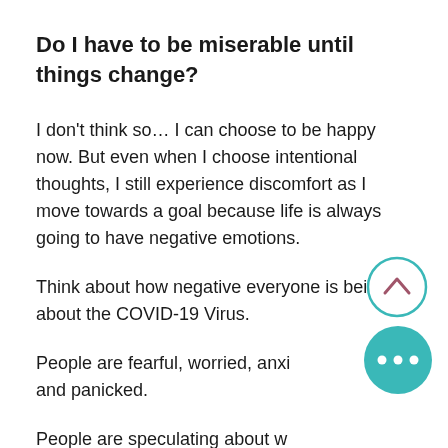Do I have to be miserable until things change?
I don’t think so… I can choose to be happy now. But even when I choose intentional thoughts, I still experience discomfort as I move towards a goal because life is always going to have negative emotions.
Think about how negative everyone is being about the COVID-19 Virus.
People are fearful, worried, anxious, and panicked.
People are speculating about what will happen in the coming months
[Figure (illustration): Teal circle with upward chevron arrow icon — a UI navigation button]
[Figure (illustration): Teal circle with three horizontal dots — a UI more/menu button]